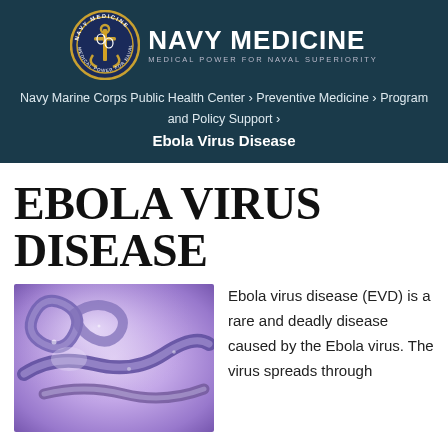NAVY MEDICINE — MEDICAL POWER FOR NAVAL SUPERIORITY
Navy Marine Corps Public Health Center > Preventive Medicine > Program and Policy Support >
Ebola Virus Disease
EBOLA VIRUS DISEASE
[Figure (photo): Microscopic image of Ebola virus particles, purple/blue toned electron micrograph showing curling filamentous viral structures]
Ebola virus disease (EVD) is a rare and deadly disease caused by the Ebola virus. The virus spreads through